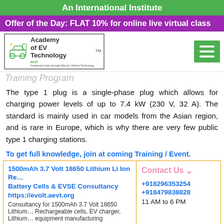An International Institute
Offer of the Day: FLAT 10% for online live virtual class
[Figure (logo): Academy of EV Technology logo with green car and charging icon]
Training Program
The type 1 plug is a single-phase plug which allows for charging power levels of up to 7.4 kW (230 V, 32 A). The standard is mainly used in car models from the Asian region, and is rare in Europe, which is why there are very few public type 1 charging stations.
To get full knowledge, join at coming Training / Event.
1500mAh 3.7 Volt 18650 Lithium Li Ion Re… Battery Cells & EVSE Consultancy
https://evolt.aevt.org
Consultancy for 1500mAh 3.7 Volt 18650 Lithium… Rechargeable cells, EV charger, Lithium… equipment manufacturing
Become Training Partner
Contact Us
+918296353254
+918479838828
11 AM to 6 PM